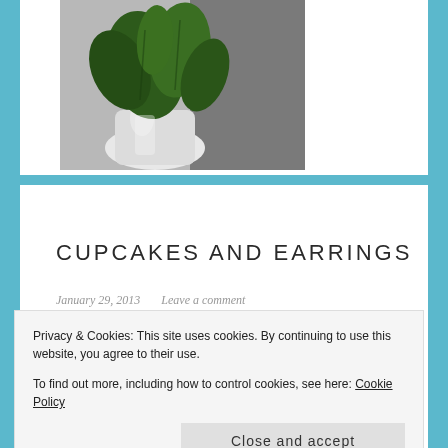[Figure (photo): Top portion of a photo showing green leafy plant in a white vase/container on a light background]
CUPCAKES AND EARRINGS
January 29, 2013    Leave a comment
[Figure (photo): Partial view of cupcakes in plastic wrapping, top strip visible]
Privacy & Cookies: This site uses cookies. By continuing to use this website, you agree to their use.
To find out more, including how to control cookies, see here: Cookie Policy
Close and accept
[Figure (photo): Bottom strip of cupcake image visible below cookie banner]